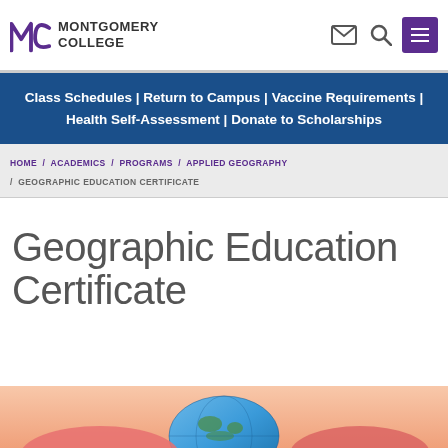Montgomery College
Class Schedules | Return to Campus | Vaccine Requirements | Health Self-Assessment | Donate to Scholarships
HOME / ACADEMICS / PROGRAMS / APPLIED GEOGRAPHY / GEOGRAPHIC EDUCATION CERTIFICATE
Geographic Education Certificate
[Figure (photo): Child holding a globe, hands visible at bottom of page]